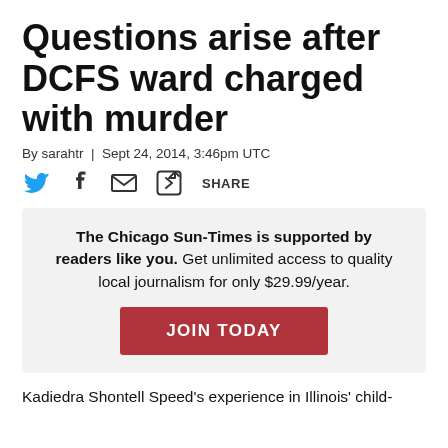Questions arise after DCFS ward charged with murder
By sarahtr | Sept 24, 2014, 3:46pm UTC
[Figure (infographic): Social sharing icons: Twitter bird (blue), Facebook f (dark), envelope/email icon, share/external link icon, and SHARE text label]
The Chicago Sun-Times is supported by readers like you. Get unlimited access to quality local journalism for only $29.99/year.
JOIN TODAY
Kadiedra Shontell Speed's experience in Illinois' child-